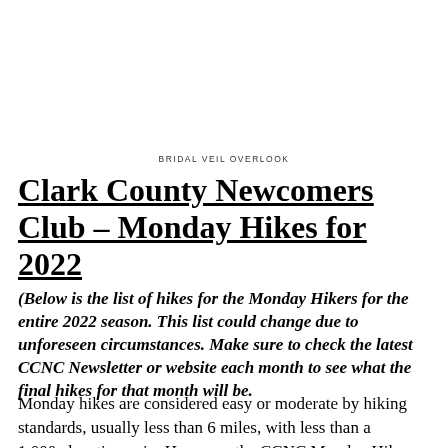BRIDAL VEIL OVERLOOK
Clark County Newcomers Club – Monday Hikes for 2022
(Below is the list of hikes for the Monday Hikers for the entire 2022 season. This list could change due to unforeseen circumstances. Make sure to check the latest CCNC Newsletter or website each month to see what the final hikes for that month will be.
Monday hikes are considered easy or moderate by hiking standards, usually less than 6 miles, with less than a 1,000 elevation gain. However, the CCNC Monday Hike rating necessarily the same as found in trail books. Please note the